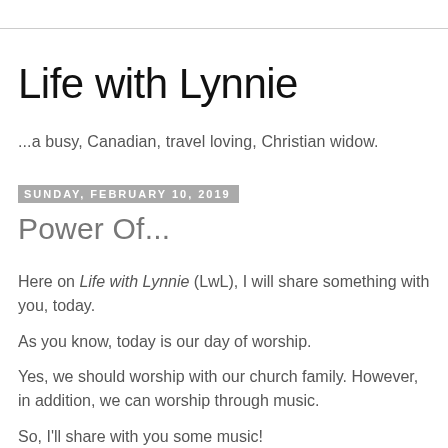Life with Lynnie
...a busy, Canadian, travel loving, Christian widow.
Sunday, February 10, 2019
Power Of...
Here on Life with Lynnie (LwL), I will share something with you, today.
As you know, today is our day of worship.
Yes, we should worship with our church family.  However, in addition, we can worship through music.
So, I'll share with you some music!